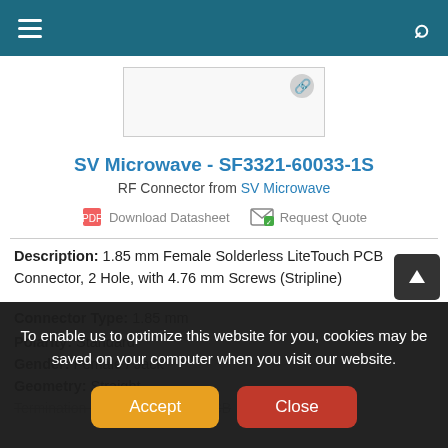SV Microwave - SF3321-60033-1S
[Figure (photo): Product image placeholder with small icon in top-right corner]
SV Microwave - SF3321-60033-1S
RF Connector from SV Microwave
Download Datasheet   Request Quote
Description: 1.85 mm Female Solderless LiteTouch PCB Connector, 2 Hole, with 4.76 mm Screws (Stripline)
Connector Type: 1.85 mm
Polarity: Standard
Gender: Female / Jack
Geometry: Straight
Termination Style: Solderless, PCB
To enable us to optimize this website for you, cookies may be saved on your computer when you visit our website.